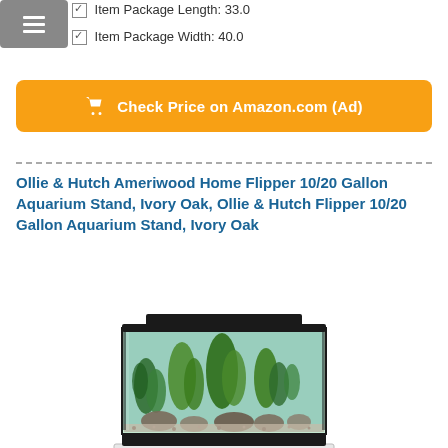Item Package Length: 33.0
Item Package Width: 40.0
Check Price on Amazon.com (Ad)
Ollie & Hutch Ameriwood Home Flipper 10/20 Gallon Aquarium Stand, Ivory Oak, Ollie & Hutch Flipper 10/20 Gallon Aquarium Stand, Ivory Oak
[Figure (photo): Photo of a fish aquarium tank with aquatic plants, rocks, and gravel, black frame, displayed on a white stand.]